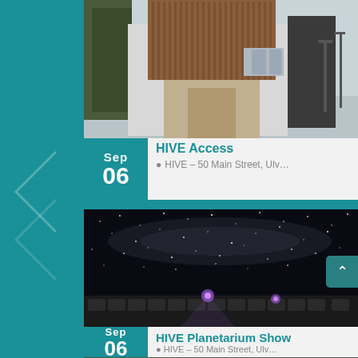[Figure (photo): Modern building with timber cladding and dark panels exterior photo]
HIVE Access
HIVE – 50 Main Street, Ulv…
[Figure (photo): Planetarium interior showing starry night sky ceiling with reclining seats and purple lighting]
HIVE Planetarium Show
HIVE – 50 Main Street, Ulv…
[Figure (photo): Partial photo at bottom of page showing trees]